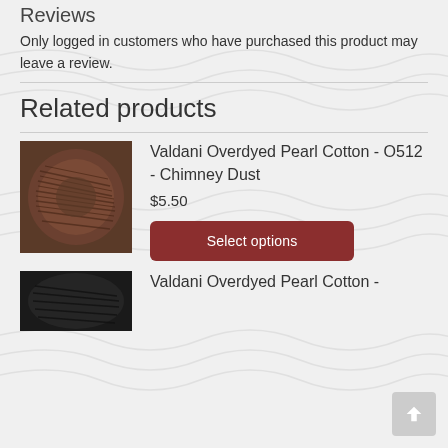Reviews
Only logged in customers who have purchased this product may leave a review.
Related products
[Figure (photo): Brown/taupe spool of Valdani Overdyed Pearl Cotton thread]
Valdani Overdyed Pearl Cotton - O512 - Chimney Dust
$5.50
Select options
[Figure (photo): Dark/black spool of Valdani Overdyed Pearl Cotton thread]
Valdani Overdyed Pearl Cotton -